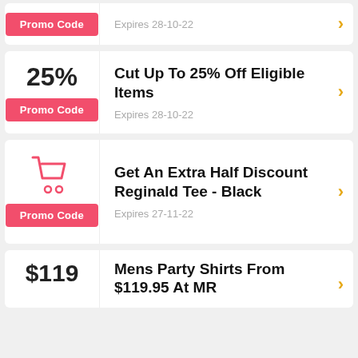[Figure (screenshot): Partial coupon card at top: Promo Code button on left, Expires 28-10-22 on right]
Expires 28-10-22
25%
Promo Code
Cut Up To 25% Off Eligible Items
Expires 28-10-22
[Figure (illustration): Shopping cart icon in red/pink]
Promo Code
Get An Extra Half Discount Reginald Tee - Black
Expires 27-11-22
$119
Mens Party Shirts From $119.95 At MR